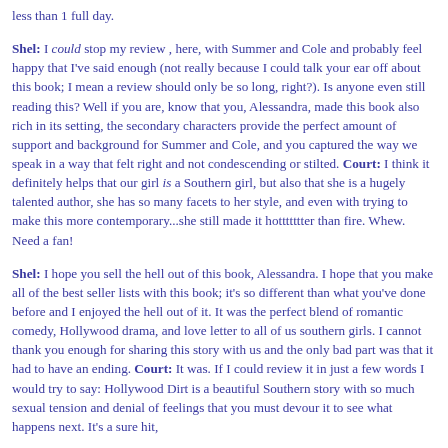less than 1 full day.
Shel: I could stop my review , here, with Summer and Cole and probably feel happy that I've said enough (not really because I could talk your ear off about this book; I mean a review should only be so long, right?). Is anyone even still reading this? Well if you are, know that you, Alessandra, made this book also rich in its setting, the secondary characters provide the perfect amount of support and background for Summer and Cole, and you captured the way we speak in a way that felt right and not condescending or stilted. Court: I think it definitely helps that our girl is a Southern girl, but also that she is a hugely talented author, she has so many facets to her style, and even with trying to make this more contemporary...she still made it hottttttter than fire. Whew. Need a fan!
Shel: I hope you sell the hell out of this book, Alessandra. I hope that you make all of the best seller lists with this book; it's so different than what you've done before and I enjoyed the hell out of it. It was the perfect blend of romantic comedy, Hollywood drama, and love letter to all of us southern girls. I cannot thank you enough for sharing this story with us and the only bad part was that it had to have an ending. Court: It was. If I could review it in just a few words I would try to say: Hollywood Dirt is a beautiful Southern story with so much sexual tension and denial of feelings that you must devour it to see what happens next. It's a sure hit,